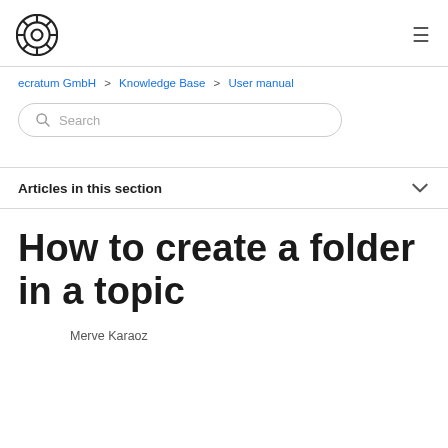ecratum GmbH logo and navigation menu
ecratum GmbH > Knowledge Base > User manual
Search
Articles in this section
How to create a folder in a topic
Merve Karaoz